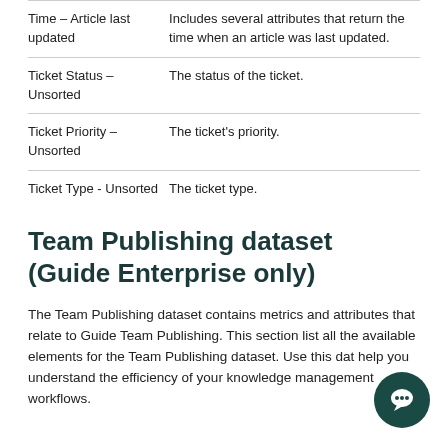| Attribute | Description |
| --- | --- |
| Time – Article last updated | Includes several attributes that return the time when an article was last updated. |
| Ticket Status – Unsorted | The status of the ticket. |
| Ticket Priority – Unsorted | The ticket's priority. |
| Ticket Type - Unsorted | The ticket type. |
Team Publishing dataset (Guide Enterprise only)
The Team Publishing dataset contains metrics and attributes that relate to Guide Team Publishing. This section list all the available elements for the Team Publishing dataset. Use this dat... help you understand the efficiency of your knowledge... management workflows.